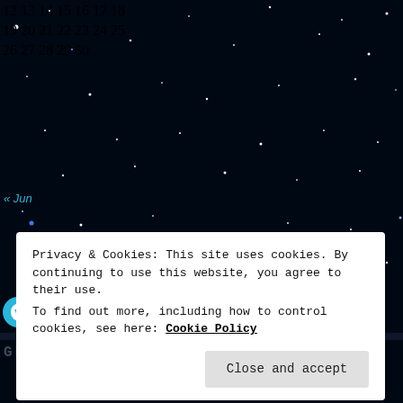[Figure (photo): Night sky starfield background with colorful stars (blue, white, purple, green, red dots) on dark background, used as website background image]
| 12 | 13 | 14 | 15 | 16 | 17 | 18 |
| --- | --- | --- | --- | --- | --- | --- |
| 19 | 20 | 21 | 22 | 23 | 24 | 25 |
| 26 | 27 | 28 | 29 | 30 |  |  |
« Jun
[Figure (logo): WordPress follow button with W logo and text 'Follow The Witchcraft Chronicles' on cyan/teal rounded rectangle]
GRAB OUR FEED
Privacy & Cookies: This site uses cookies. By continuing to use this website, you agree to their use.
To find out more, including how to control cookies, see here: Cookie Policy
Close and accept